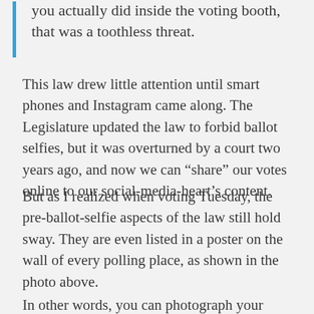you actually did inside the voting booth, that was a toothless threat.
This law drew little attention until smart phones and Instagram came along. The Legislature updated the law to forbid ballot selfies, but it was overturned by a court two years ago, and now we can “share” our votes online to our social-media-heart’s content.
But as I realized when voting Tuesday, the pre-ballot-selfie aspects of the law still hold sway. They are even listed in a poster on the wall of every polling place, as shown in the photo above.
In other words, you can photograph your